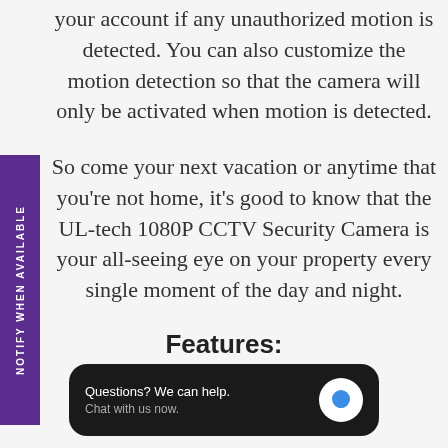your account if any unauthorized motion is detected. You can also customize the motion detection so that the camera will only be activated when motion is detected.
So come your next vacation or anytime that you're not home, it's good to know that the UL-tech 1080P CCTV Security Camera is your all-seeing eye on your property every single moment of the day and night.
Features:
[Figure (screenshot): Chat widget with dark rounded rectangle background. Text reads 'Questions? We can help.' and 'Chat with us now.' with a blue chat bubble icon on the right.]